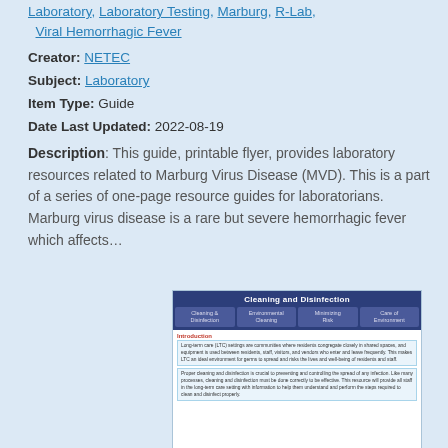Laboratory, Laboratory Testing, Marburg, R-Lab, Viral Hemorrhagic Fever
Creator: NETEC
Subject: Laboratory
Item Type: Guide
Date Last Updated: 2022-08-19
Description: This guide, printable flyer, provides laboratory resources related to Marburg Virus Disease (MVD). This is a part of a series of one-page resource guides for laboratorians. Marburg virus disease is a rare but severe hemorrhagic fever which affects…
[Figure (screenshot): Screenshot of a document titled 'Cleaning and Disinfection' with tabs for Cleaning & Disinfection, Environmental Cleaning, Minimizing Risk, and Care of Environment. Shows an Introduction section with body text about long-term care settings.]